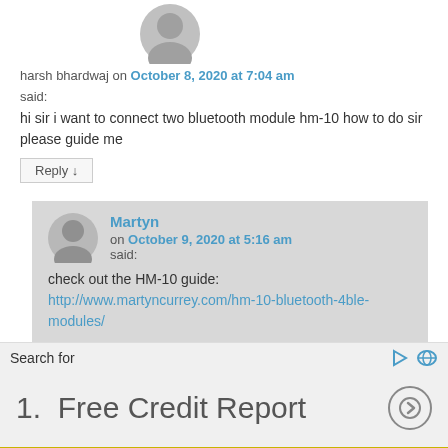[Figure (illustration): Gray avatar/profile placeholder icon (person silhouette)]
harsh bhardwaj on October 8, 2020 at 7:04 am
said:
hi sir i want to connect two bluetooth module hm-10 how to do sir please guide me
Reply ↓
[Figure (illustration): Gray avatar/profile placeholder icon (person silhouette) for nested comment]
Martyn on October 9, 2020 at 5:16 am said:
check out the HM-10 guide: http://www.martyncurrey.com/hm-10-bluetooth-4ble-modules/
Search for
1.  Free Credit Report